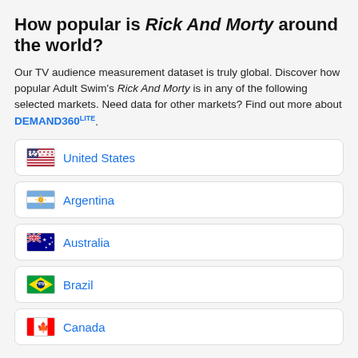How popular is Rick And Morty around the world?
Our TV audience measurement dataset is truly global. Discover how popular Adult Swim's Rick And Morty is in any of the following selected markets. Need data for other markets? Find out more about DEMAND360LITE.
United States
Argentina
Australia
Brazil
Canada